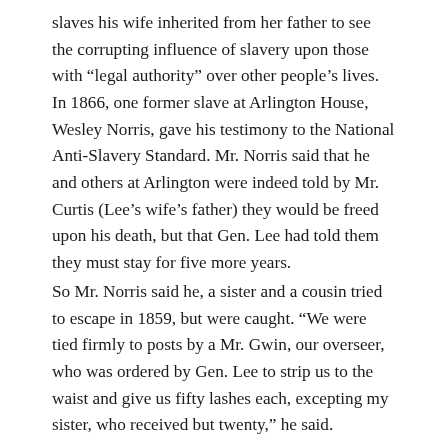slaves his wife inherited from her father to see the corrupting influence of slavery upon those with “legal authority” over other people’s lives. In 1866, one former slave at Arlington House, Wesley Norris, gave his testimony to the National Anti-Slavery Standard. Mr. Norris said that he and others at Arlington were indeed told by Mr. Curtis (Lee’s wife’s father) they would be freed upon his death, but that Gen. Lee had told them they must stay for five more years.
So Mr. Norris said he, a sister and a cousin tried to escape in 1859, but were caught. “We were tied firmly to posts by a Mr. Gwin, our overseer, who was ordered by Gen. Lee to strip us to the waist and give us fifty lashes each, excepting my sister, who received but twenty,” he said.
And when the overseer declined to wield the lash, a constable stepped up, Mr. Norris said. He added that Gen. Lee had told the constable to “lay it on well.”